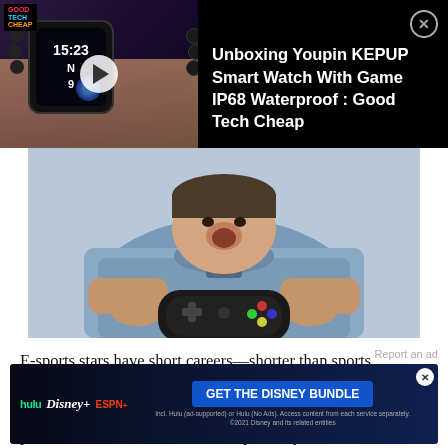[Figure (screenshot): Ad overlay showing a smartwatch video thumbnail with play button and logo, with title text 'Unboxing Youpin KEPUP Smart Watch With Game IP68 Waterproof : Good Tech Cheap' on black background, with close button (X)]
[Figure (photo): Photo of a person in a blue/grey shirt holding a game controller close to their face]
E-sports stars have short careers—shorter than sports stars. The general assumption is that the coordination and focus required selects for youth even more than athletic performance does, but medical experts say
Report an ad
[Figure (screenshot): Disney Bundle advertisement banner showing Hulu, Disney+, and ESPN+ logos with 'GET THE DISNEY BUNDLE' button, fine print: 'Incl. Hulu (ad-supported) or Hulu (No Ads). Access content from each service separately. ©2021 Disney and its related entities']